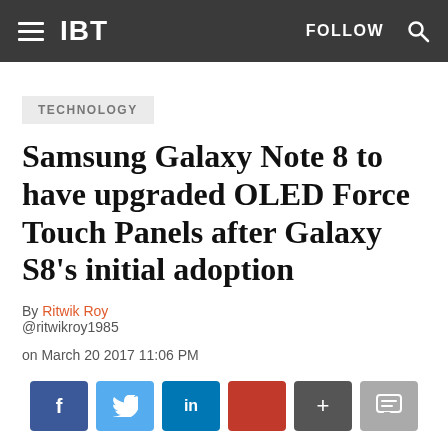IBT  FOLLOW
TECHNOLOGY
Samsung Galaxy Note 8 to have upgraded OLED Force Touch Panels after Galaxy S8's initial adoption
By Ritwik Roy
@ritwikroy1985
on March 20 2017 11:06 PM
[Figure (other): Social sharing buttons: Facebook (f), Twitter (bird), LinkedIn (in), Google+ (red), Plus (+), Comment (speech bubble)]